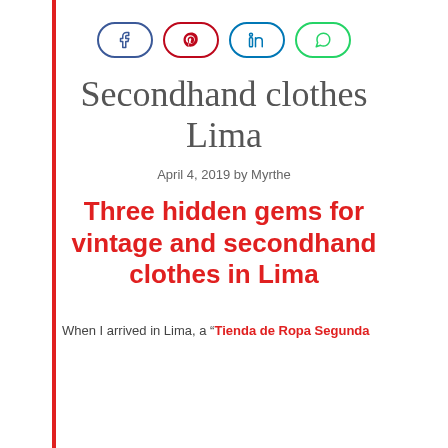[Figure (other): Social sharing buttons: Facebook (blue border), Pinterest (red border), LinkedIn (blue border), WhatsApp (green border)]
Secondhand clothes Lima
April 4, 2019 by Myrthe
Three hidden gems for vintage and secondhand clothes in Lima
When I arrived in Lima, a “Tienda de Ropa Segunda